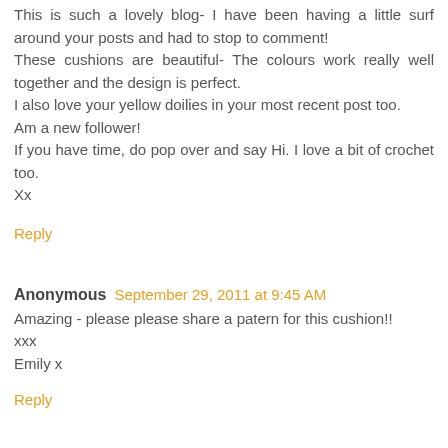This is such a lovely blog- I have been having a little surf around your posts and had to stop to comment!
These cushions are beautiful- The colours work really well together and the design is perfect.
I also love your yellow doilies in your most recent post too.
Am a new follower!
If you have time, do pop over and say Hi. I love a bit of crochet too.
Xx
Reply
Anonymous  September 29, 2011 at 9:45 AM
Amazing - please please share a patern for this cushion!!
xxx
Emily x
Reply
crochetbutterfly  January 19, 2014 at 8:25 AM
I just found this blog today and it is totally amazing!! I love